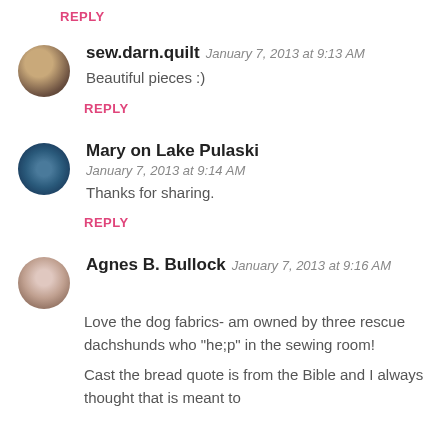REPLY
sew.darn.quilt   January 7, 2013 at 9:13 AM
Beautiful pieces :)
REPLY
Mary on Lake Pulaski   January 7, 2013 at 9:14 AM
Thanks for sharing.
REPLY
Agnes B. Bullock   January 7, 2013 at 9:16 AM
Love the dog fabrics- am owned by three rescue dachshunds who "he;p" in the sewing room!
Cast the bread quote is from the Bible and I always thought that is meant to